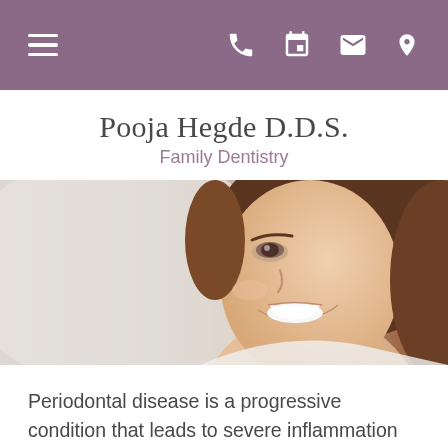Pooja Hegde D.D.S. Family Dentistry — navigation bar
Pooja Hegde D.D.S.
Family Dentistry
[Figure (photo): Smiling young woman with brown hair and bright white teeth, shown from the shoulders up against a light blurred background. Right half of face is prominently featured.]
Periodontal disease is a progressive condition that leads to severe inflammation and tooth loss if left untreated.  Antibiotic treatments can be used in